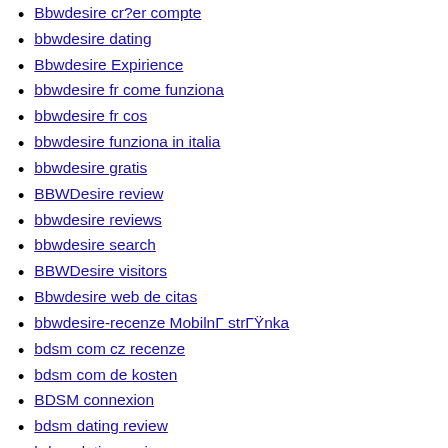Bbwdesire cr?er compte
bbwdesire dating
Bbwdesire Expirience
bbwdesire fr come funziona
bbwdesire fr cos
bbwdesire funziona in italia
bbwdesire gratis
BBWDesire review
bbwdesire reviews
bbwdesire search
BBWDesire visitors
Bbwdesire web de citas
bbwdesire-recenze Mobilnı strıŸnka
bdsm com cz recenze
bdsm com de kosten
BDSM connexion
bdsm dating review
bdsm dating reviews
Bdsm dating site free
BDSM review
BDSM reviews
BDSM Sites app
BDSM Sites service
BDSM Sites site